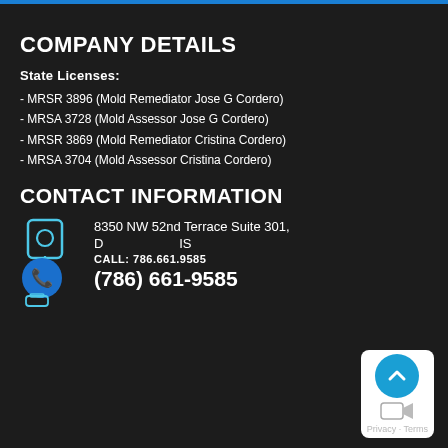COMPANY DETAILS
State Licenses:
- MRSR 3896 (Mold Remediator Jose G Cordero)
- MRSA 3728 (Mold Assessor Jose G Cordero)
- MRSR 3869 (Mold Remediator Cristina Cordero)
- MRSA 3704 (Mold Assessor Cristina Cordero)
CONTACT INFORMATION
8350 NW 52nd Terrace Suite 301,
CALL: 786.661.9585
(786) 661-9585